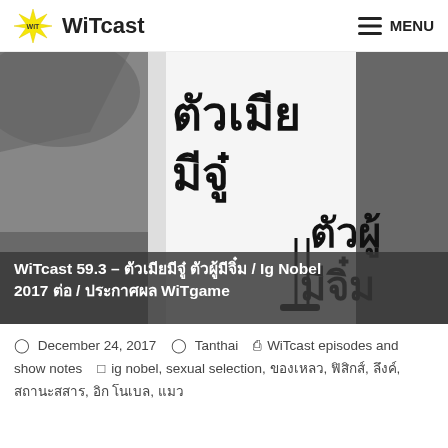WiTcast — MENU
[Figure (illustration): Book cover or graphic showing Thai text: ตัวเมียมีจู๋ (top left, large) and ตัวผู้มีจิ๋ม (bottom right, large), with a stylized pin/needle illustration on a white panel, surrounded by grey background.]
WiTcast 59.3 – ตัวเมียมีจู๋ ตัวผู้มีจิ๋ม / Ig Nobel 2017 ต่อ / ประกาศผล WiTgame
December 24, 2017   Tanthai   WiTcast episodes and show notes   ig nobel, sexual selection, ของเหลว, ฟิสิกส์, ลึงค์, สถานะสสาร, อิก โนเบล, แมว